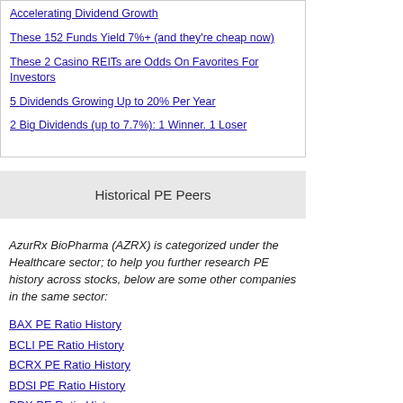Accelerating Dividend Growth
These 152 Funds Yield 7%+ (and they're cheap now)
These 2 Casino REITs are Odds On Favorites For Investors
5 Dividends Growing Up to 20% Per Year
2 Big Dividends (up to 7.7%): 1 Winner. 1 Loser
Historical PE Peers
AzurRx BioPharma (AZRX) is categorized under the Healthcare sector; to help you further research PE history across stocks, below are some other companies in the same sector:
BAX PE Ratio History
BCLI PE Ratio History
BCRX PE Ratio History
BDSI PE Ratio History
BDX PE Ratio History
BIIB PE Ratio History
BIO PE Ratio History